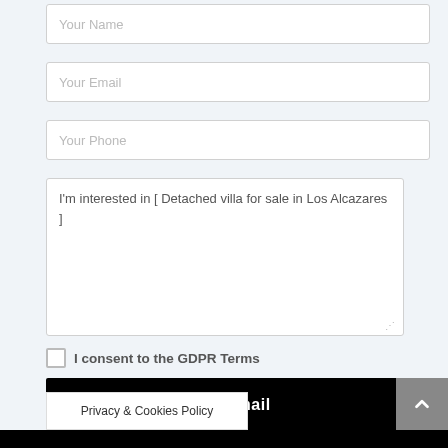Your Name
Your Email
Your Phone
I'm interested in [ Detached villa for sale in Los Alcazares ]
I consent to the GDPR Terms
Send Email
Privacy & Cookies Policy